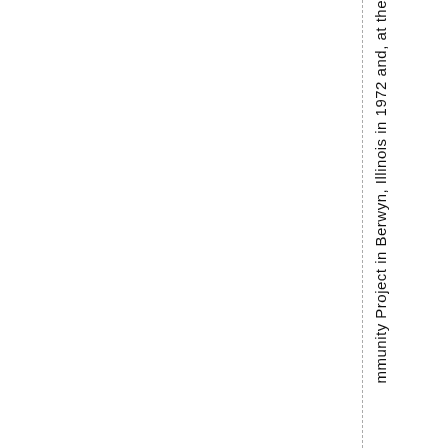mmunity Project in Berwyn, Illinois in 1972 and, at the